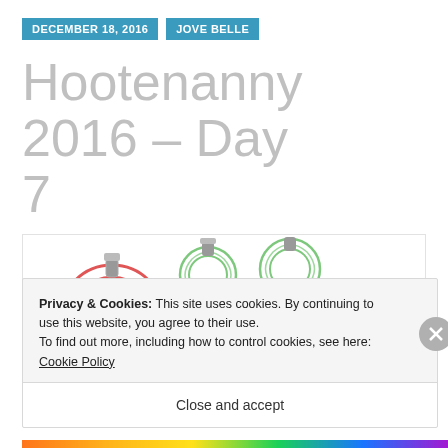DECEMBER 18, 2016   JOVE BELLE
Hootenanny 2016 – Day 7
[Figure (illustration): Hootenanny 2016 Day 7 banner with colorful Christmas ornaments in red and green swirl designs, text reading 'Hootenanny 2016 Day 7']
Privacy & Cookies: This site uses cookies. By continuing to use this website, you agree to their use.
To find out more, including how to control cookies, see here: Cookie Policy
Close and accept